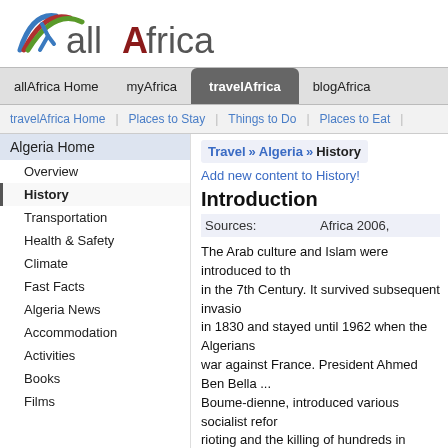[Figure (logo): allAfrica logo with colorful arc marks and stylized letters]
allAfrica Home | myAfrica | travelAfrica | blogAfrica
travelAfrica Home | Places to Stay | Things to Do | Places to Eat
Algeria Home
Overview
History
Transportation
Health & Safety
Climate
Fast Facts
Algeria News
Accommodation
Activities
Books
Films
Travel » Algeria » History
Add new content to History!
Introduction
Sources:    Africa 2006,
The Arab culture and Islam were introduced to th... in the 7th Century. It survived subsequent invasio... in 1830 and stayed until 1962 when the Algerians... war against France. President Ahmed Ben Bella ... Boume-dienne, introduced various socialist refor... rioting and the killing of hundreds in Algiers and c... Salvation Front (FIS), an extremist fundamentalis... "European" influence in Algeria. As a result of vio... elections and pronouncements by its leaders tha...